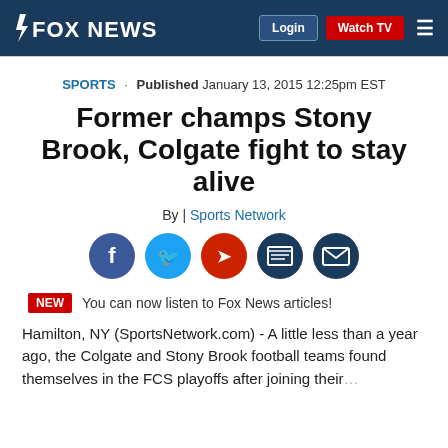FOX NEWS | Login | Watch TV
SPORTS · Published January 13, 2015 12:25pm EST
Former champs Stony Brook, Colgate fight to stay alive
By | Sports Network
[Figure (other): Social sharing icons: Facebook, Twitter, Flipboard, Print, Email]
NEW  You can now listen to Fox News articles!
Hamilton, NY (SportsNetwork.com) - A little less than a year ago, the Colgate and Stony Brook football teams found themselves in the FCS playoffs after joining their...